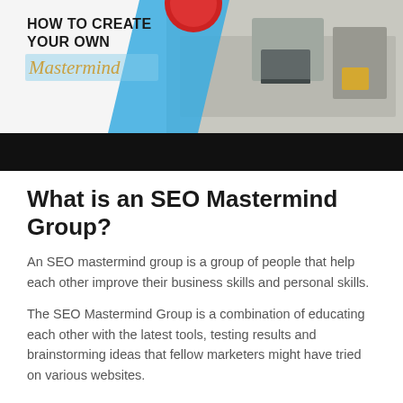[Figure (illustration): Banner image showing 'HOW TO CREATE YOUR OWN Mastermind' text overlaid on a photo of people working at a desk with laptops. Background has blue diagonal stripe. A red circular logo/badge is partially visible at the top. A black bar sits below the photo portion.]
What is an SEO Mastermind Group?
An SEO mastermind group is a group of people that help each other improve their business skills and personal skills.
The SEO Mastermind Group is a combination of educating each other with the latest tools, testing results and brainstorming ideas that fellow marketers might have tried on various websites.